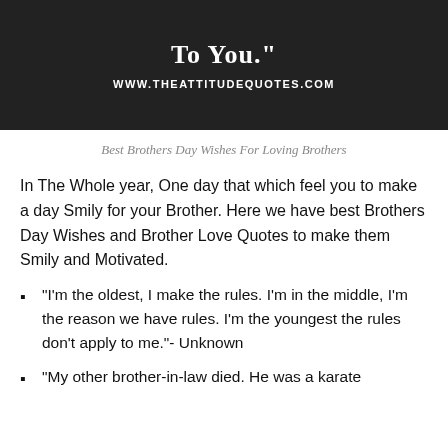[Figure (photo): Dark background image with white text showing 'To You.' and URL www.theattitudequotes.com at the bottom]
Best Brothers Day Wishes For Loving Brothers
In The Whole year, One day that which feel you to make a day Smily for your Brother. Here we have best Brothers Day Wishes and Brother Love Quotes to make them Smily and Motivated.
“I’m the oldest, I make the rules. I’m in the middle, I’m the reason we have rules. I’m the youngest the rules don’t apply to me.”- Unknown
“My other brother-in-law died. He was a karate